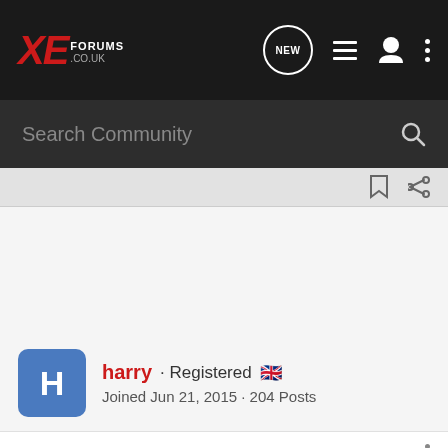XE Forums .co.uk — navigation bar with NEW, list, user, and menu icons
Search Community
harry · Registered 🇬🇧
Joined Jun 21, 2015 · 204 Posts
#5 · Jun 26, 2015
Ordered a 180 R Sport, wish I'd ordered the S with the supercharged v6 😉